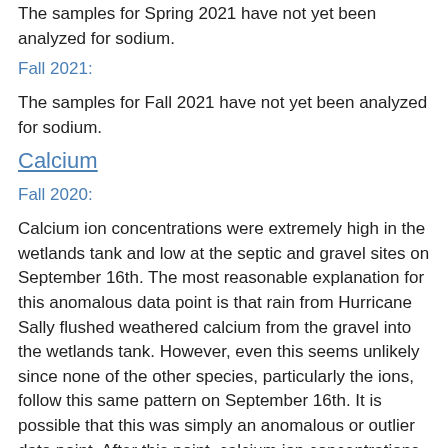The samples for Spring 2021 have not yet been analyzed for sodium.
Fall 2021:
The samples for Fall 2021 have not yet been analyzed for sodium.
Calcium
Fall 2020:
Calcium ion concentrations were extremely high in the wetlands tank and low at the septic and gravel sites on September 16th. The most reasonable explanation for this anomalous data point is that rain from Hurricane Sally flushed weathered calcium from the gravel into the wetlands tank. However, even this seems unlikely since none of the other species, particularly the ions, follow this same pattern on September 16th. It is possible that this was simply an anomalous or outlier data point. After this point, calcium ion concentrations are similar and consistent across all three sample sites.
Spring 2021:
The samples for Spring 2021 have not yet been analyzed